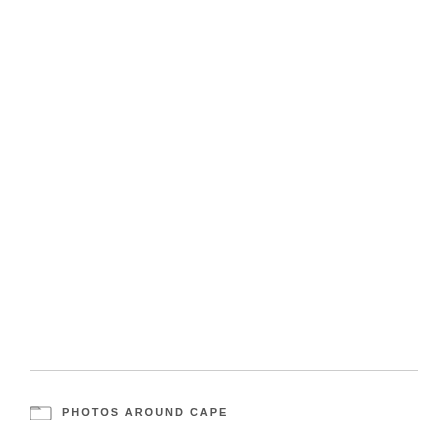[Figure (other): Large white/blank image area taking up most of the page]
PHOTOS AROUND CAPE